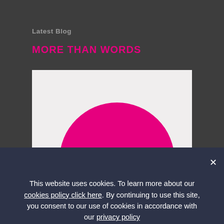Latest Blog
MORE THAN WORDS
[Figure (pie-chart): A large magenta/pink pie chart showing a dominant slice (nearly all), with a thin darker slice cut out at the bottom, on a light gray background.]
This website uses cookies. To learn more about our cookies policy click here. By continuing to use this site, you consent to our use of cookies in accordance with our privacy policy
OK